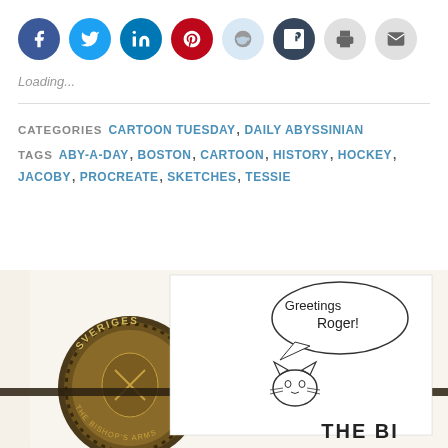[Figure (other): Row of social media sharing icon buttons: Facebook (blue), Twitter (cyan), LinkedIn (dark blue), Pinterest (red), Reddit (light blue), Tumblr (dark navy), Print (gray), Email (gray)]
Loading...
CATEGORIES  CARTOON TUESDAY,  DAILY ABYSSINIAN
TAGS  ABY-A-DAY,  BOSTON,  CARTOON,  HISTORY,  HOCKEY,  JACOBY,  PROCREATE,  SKETCHES,  TESSIE
[Figure (photo): Photo showing a Swedish coin or medallion with 'SVERIGES' text and a hand-drawn cartoon of a cat with a speech bubble saying 'Greetings Roger!' and partial text 'THE BI' at bottom right]